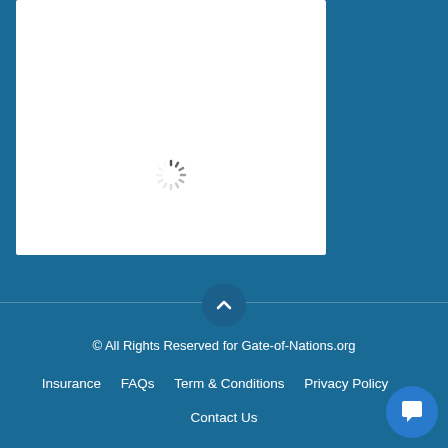[Figure (screenshot): White content card with a loading spinner (animated circular dashes) in the center, indicating content is being loaded]
[Figure (other): Circular chevron-up button on a divider line, used to scroll back to top]
© All Rights Reserved for Gate-of-Nations.org
Insurance   FAQs   Term & Conditions   Privacy Policy   Contact Us